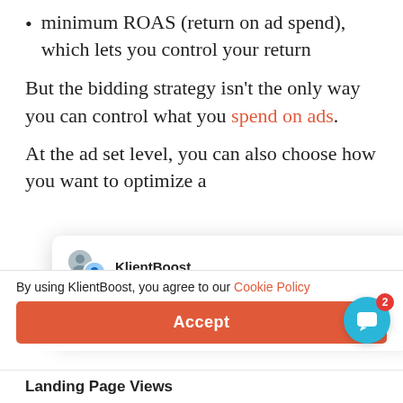minimum ROAS (return on ad spend), which lets you control your return
But the bidding strategy isn't the only way you can control what you spend on ads.
At the ad set level, you can also choose how you want to optimize a[d delivery] and on the objective yo[u selected]
[Figure (screenshot): KlientBoost chat popup overlay showing brand avatars, the name 'KlientBoost', and message 'Hey there 👋 Want a Facebook ad cheat sheet specific for your...']
By using KlientBoost, you agree to our Cookie Policy
Accept
Landing Page Views